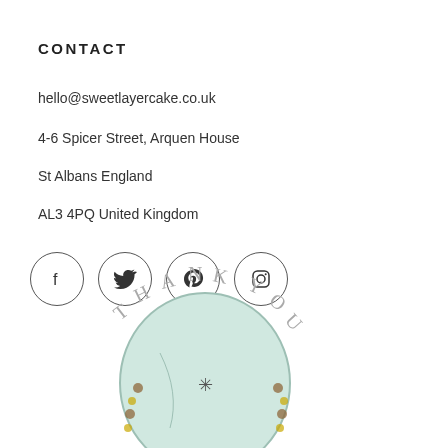CONTACT
hello@sweetlayercake.co.uk
4-6 Spicer Street, Arquen House
St Albans England
AL3 4PQ United Kingdom
[Figure (illustration): Social media icons in circles: Facebook, Twitter, Pinterest, Instagram]
[Figure (illustration): Thank You circular stamp/badge illustration with a light blue balloon and decorative elements around it]